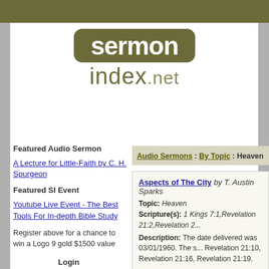[Figure (logo): SermonIndex.net logo with dark olive rounded rectangle containing 'sermon' in white bold text and 'index.net' in olive text below]
Featured Audio Sermon
A Lecture for Little-Faith by C. H. Spurgeon
Featured SI Event
Youtube Live Event - The Best Tools For In-depth Bible Study
Register above for a chance to win a Logo 9 gold $1500 value
Login
Audio Sermons : By Topic : Heaven
Aspects of The City by T. Austin Sparks
Topic: Heaven
Scripture(s): 1 Kings 7:1,Revelation 21:2,Revelation 2...
Description: The date delivered was 03/01/1960. The s... Revelation 21:10, Revelation 21:16, Revelation 21:19.